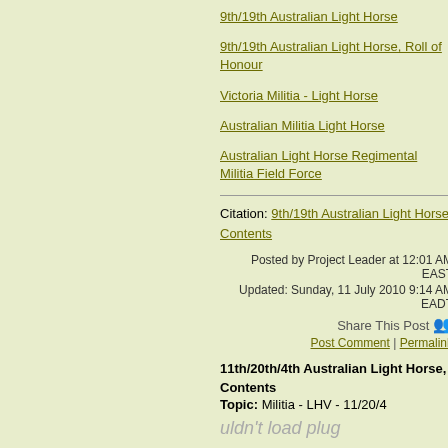9th/19th Australian Light Horse
9th/19th Australian Light Horse, Roll of Honour
Victoria Militia - Light Horse
Australian Militia Light Horse
Australian Light Horse Regimental Militia Field Force
Citation: 9th/19th Australian Light Horse, Contents
Posted by Project Leader at 12:01 AM EAST
Updated: Sunday, 11 July 2010 9:14 AM EADT
Share This Post
Post Comment | Permalink
11th/20th/4th Australian Light Horse, Contents
Topic: Militia - LHV - 11/20/4
uldn't load plug
11th/20th/4th ALH
11th/20th/4th Australian